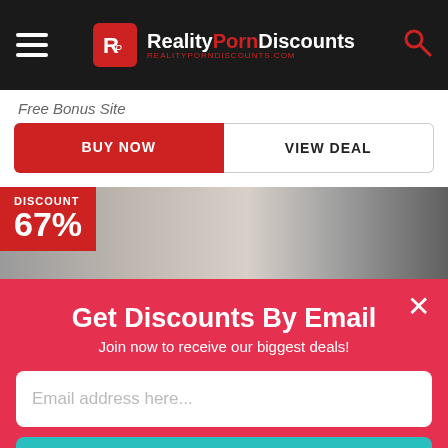Reality Porn Discounts - realityporndiscounts.com
Free Bonus Site
BUY NOW | VIEW DEAL
[Figure (photo): Promotional photo strip showing people with DISCOUNT 67% badge overlay]
Get Discounts By Email
Join now to receive our biggest deals!
Email address here...
Sign Up